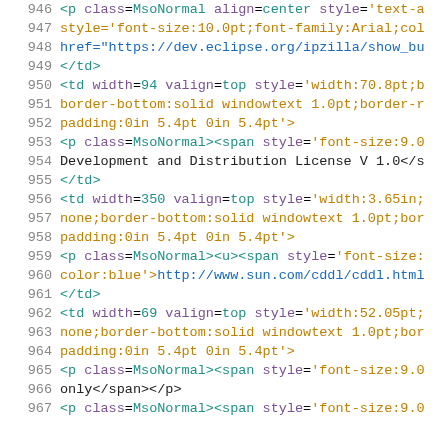Source code / HTML markup excerpt, lines 946–967